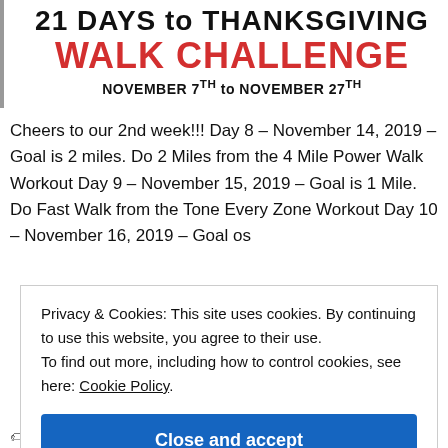[Figure (illustration): 21 Days to Thanksgiving Walk Challenge banner with red and black text, dates November 7th to November 27th]
Cheers to our 2nd week!!! Day 8 – November 14, 2019 – Goal is 2 miles. Do 2 Miles from the 4 Mile Power Walk Workout Day 9 – November 15, 2019 – Goal is 1 Mile. Do Fast Walk from the Tone Every Zone Workout Day 10 – November 16, 2019 – Goal os
Privacy & Cookies: This site uses cookies. By continuing to use this website, you agree to their use. To find out more, including how to control cookies, see here: Cookie Policy
Close and accept
exercise at home, fit and healthy, health is wealth